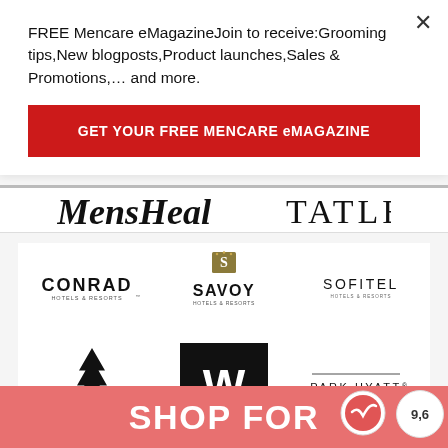FREE Mencare eMagazineJoin to receive:Grooming tips,New blogposts,Product launches,Sales & Promotions,… and more.
GET YOUR FREE MENCARE eMAGAZINE
[Figure (logo): Men's Health logo (partial, bold serif)]
[Figure (logo): Tatler logo (serif caps)]
[Figure (logo): Conrad Hotels & Resorts logo]
[Figure (logo): Savoy Hotels & Resorts logo with shield emblem]
[Figure (logo): Sofitel Hotels & Resorts logo]
[Figure (logo): Four Seasons logo with pine tree]
[Figure (logo): W Hotels logo (white W on black square)]
[Figure (logo): Park Hyatt logo with line decoration]
SHOP FOR
9,6